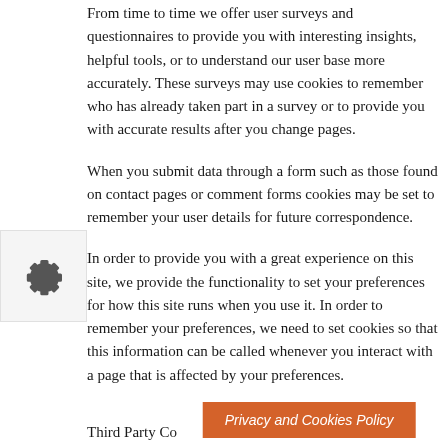From time to time we offer user surveys and questionnaires to provide you with interesting insights, helpful tools, or to understand our user base more accurately. These surveys may use cookies to remember who has already taken part in a survey or to provide you with accurate results after you change pages.
When you submit data through a form such as those found on contact pages or comment forms cookies may be set to remember your user details for future correspondence.
[Figure (other): A gear/settings icon displayed in a light gray box on the left side of the page]
In order to provide you with a great experience on this site, we provide the functionality to set your preferences for how this site runs when you use it. In order to remember your preferences, we need to set cookies so that this information can be called whenever you interact with a page that is affected by your preferences.
Third Party Co...
[Figure (other): An orange/brown button labeled 'Privacy and Cookies Policy' in italic white text]